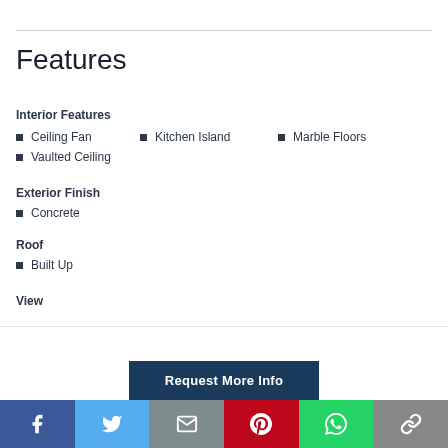Features
Interior Features
Ceiling Fan
Kitchen Island
Marble Floors
Vaulted Ceiling
Exterior Finish
Concrete
Roof
Built Up
View
Request More Info